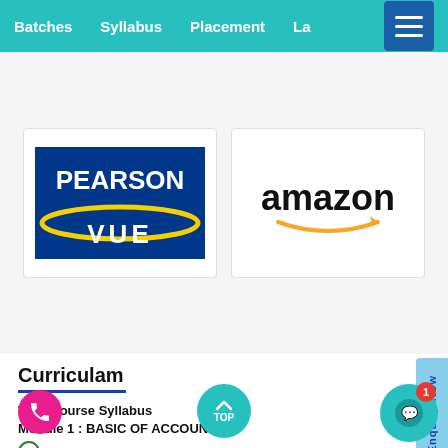Batches  Syllabus  Placement  La...
[Figure (logo): Pearson VUE logo - blue background with PEARSON in white, yellow arc, VUE in white]
[Figure (logo): Amazon logo - amazon text in black with orange arrow smile]
Curriculam
Tally Course Syllabus
Module 1 : BASIC OF ACCOUNTING
Introduction
Types of Accounts